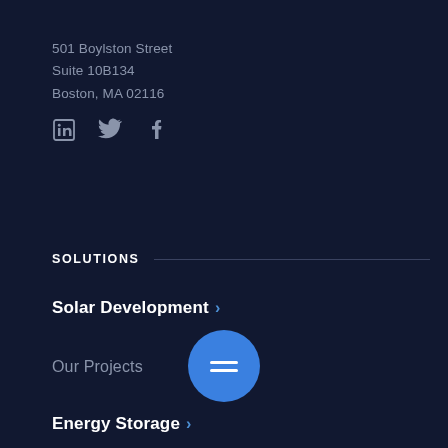501 Boylston Street
Suite 10B134
Boston, MA 02116
[Figure (illustration): Social media icons: LinkedIn, Twitter, Facebook]
SOLUTIONS
Solar Development >
Our Projects
[Figure (illustration): Hamburger menu button: blue circle with two horizontal white lines]
Energy Storage >